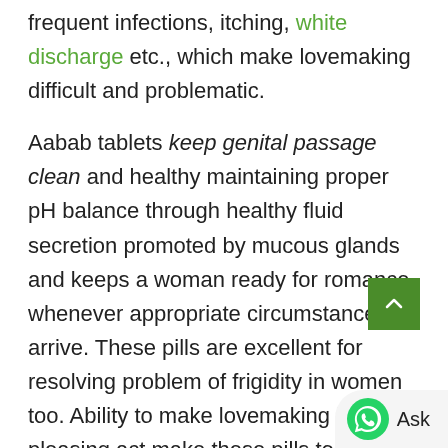frequent infections, itching, white discharge etc., which make lovemaking difficult and problematic.
Aabab tablets keep genital passage clean and healthy maintaining proper pH balance through healthy fluid secretion promoted by mucous glands and keeps a woman ready for romance whenever appropriate circumstances arrive. These pills are excellent for resolving problem of frigidity in women too. Ability to make lovemaking highly pleasing act make these pills top choice for curing problem of low libido even in elderly women. The tightness, suppleness and higher sensation provided by these pills make woman anticipate sex and take part in it with enthu...